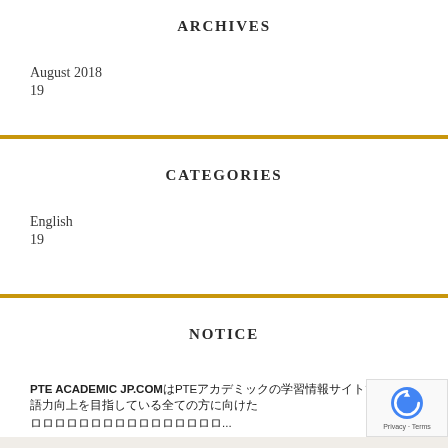ARCHIVES
August 2018
19
CATEGORIES
English
19
NOTICE
PTE ACADEMIC JP.COM